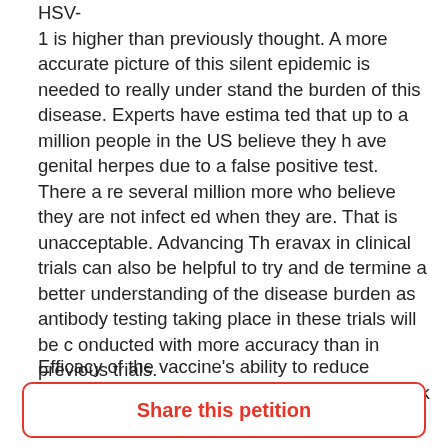HSV-1 is higher than previously thought.  A more accurate picture of this silent epidemic is needed to really understand the burden of this disease.   Experts have estimated that up to a million people in the US believe they have genital herpes due to a false positive test.  There are several million more who believe they are not infected when they are.  That is unacceptable.  Advancing Theravax in clinical trials can also be helpful to try and determine a better understanding of the disease burden as antibody testing taking place in these trials will be conducted with more accuracy than in previous trials.
Efficacy of the vaccine's ability to reduce asymptomatic shedding (an infectious outbreak without symptoms
Share this petition